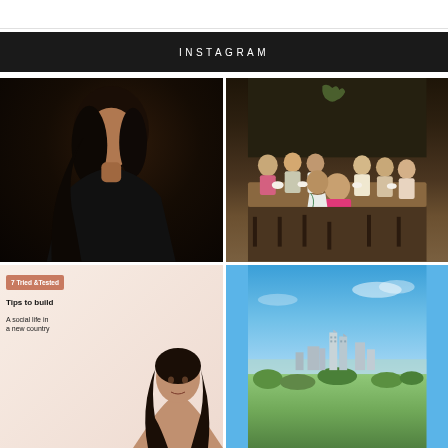INSTAGRAM
[Figure (photo): Woman with long dark hair in a black outfit posed against a dark background, professional portrait photo]
[Figure (photo): Group of women sitting around a long restaurant table with coffee cups, smiling at camera in a dark-walled cafe]
[Figure (infographic): Social media graphic with text '7 Tried & Tested Tips to build A social life in a new country' on a warm beige background with a woman's photo]
[Figure (photo): Aerial cityscape photo showing a city skyline with tall buildings under a bright blue sky with light clouds, green trees in foreground]